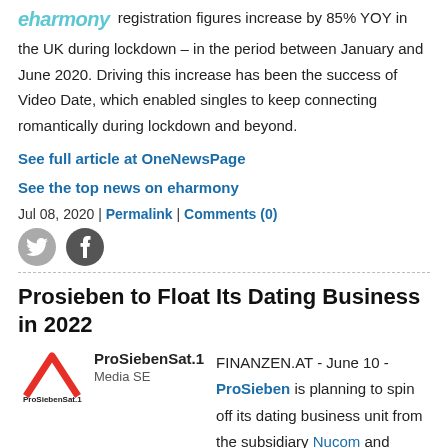eharmony registration figures increase by 85% YOY in the UK during lockdown – in the period between January and June 2020. Driving this increase has been the success of Video Date, which enabled singles to keep connecting romantically during lockdown and beyond.
See full article at OneNewsPage
See the top news on eharmony
Jul 08, 2020 | Permalink | Comments (0)
[Figure (other): Twitter and Facebook social share icons]
Prosieben to Float Its Dating Business in 2022
FINANZEN.AT - June 10 - ProSieben is planning to spin off its dating business unit from the subsidiary Nucom and "bring it to the stock exchange at the right time at a profit," said board spokesman and CEO/CFO Rainer Beaujean.